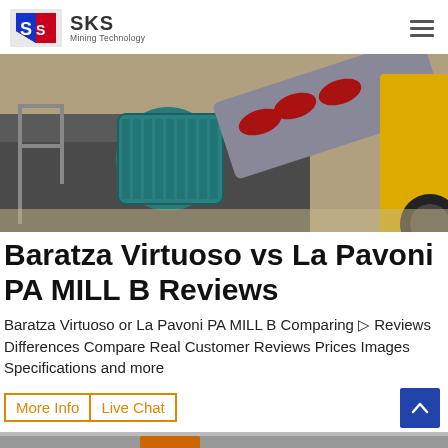SKS Mining Technology
[Figure (photo): Industrial mining equipment - electric motor and conveyor/crusher machinery on a warehouse floor]
Baratza Virtuoso vs La Pavoni PA MILL B Reviews
Baratza Virtuoso or La Pavoni PA MILL B Comparing ▷ Reviews Differences Compare Real Customer Reviews Prices Images Specifications and more
More Info  Live Chat